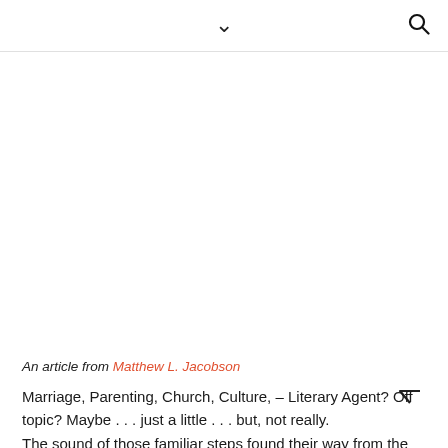∨ 🔍
An article from Matthew L. Jacobson
Marriage, Parenting, Church, Culture, – Literary Agent? Off topic? Maybe . . . just a little . . . but, not really.
The sound of those familiar steps found their way from the